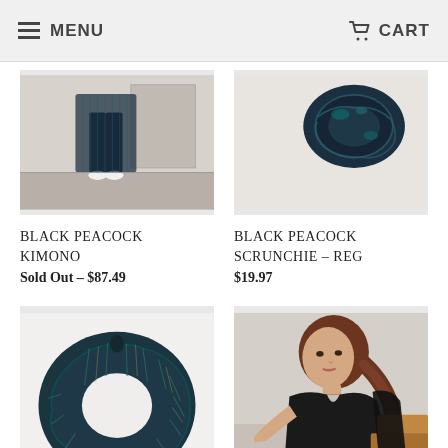MENU   CART
[Figure (photo): Photo of person wearing Black Peacock Kimono, showing lower body and white sneakers in a room]
[Figure (photo): Photo of dark teal/black peacock scrunchie hanging on wall]
BLACK PEACOCK KIMONO
Sold Out – $87.49
BLACK PEACOCK SCRUNCHIE – REG
$19.97
[Figure (photo): Photo of dark teal striped scrunchie on white background]
[Figure (photo): Photo of woman with brown hair wearing black wrap dress]
BLACK PEACOCK